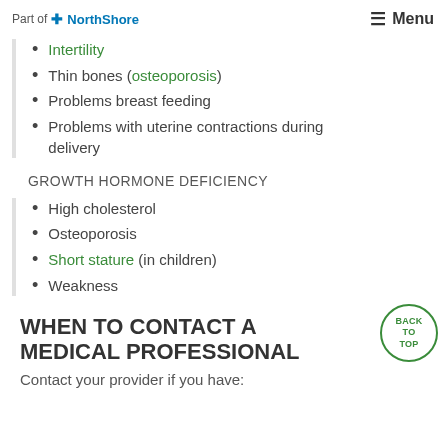Part of NorthShore | Menu
Intertility
Thin bones (osteoporosis)
Problems breast feeding
Problems with uterine contractions during delivery
GROWTH HORMONE DEFICIENCY
High cholesterol
Osteoporosis
Short stature (in children)
Weakness
WHEN TO CONTACT A MEDICAL PROFESSIONAL
Contact your provider if you have: